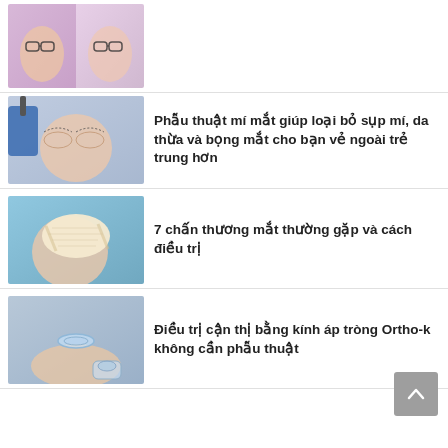[Figure (photo): Two women with glasses side by side, pink/purple hair tones]
[Figure (photo): Woman with surgical markings drawn around her eyes by gloved hands]
Phẫu thuật mí mắt giúp loại bỏ sụp mí, da thừa và bọng mắt cho bạn vẻ ngoài trẻ trung hơn
[Figure (photo): Person with bandage covering one eye]
7 chấn thương mắt thường gặp và cách điều trị
[Figure (photo): Hand holding contact lenses with lens case]
Điều trị cận thị bằng kính áp tròng Ortho-k không cần phẫu thuật